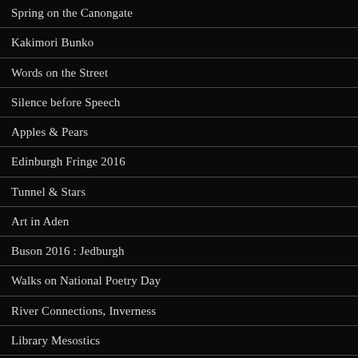Spring on the Canongate
Kakimori Bunko
Words on the Street
Silence before Speech
Apples & Pears
Edinburgh Fringe 2016
Tunnel & Stars
Art in Aden
Buson 2016 : Jedburgh
Walks on National Poetry Day
River Connections, Inverness
Library Mesostics
Curved Stream at Traquair House